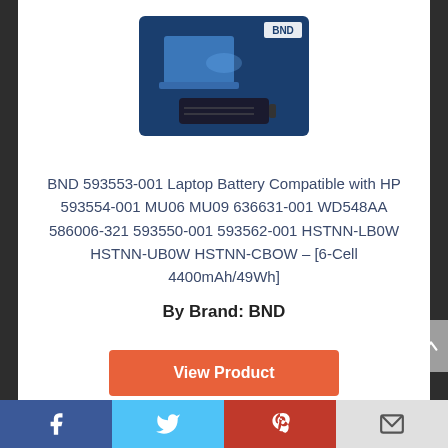[Figure (photo): BND laptop battery product image with branded box packaging on a blue background]
BND 593553-001 Laptop Battery Compatible with HP 593554-001 MU06 MU09 636631-001 WD548AA 586006-321 593550-001 593562-001 HSTNN-LB0W HSTNN-UB0W HSTNN-CBOW – [6-Cell 4400mAh/49Wh]
By Brand: BND
View Product
7 ✓
Score